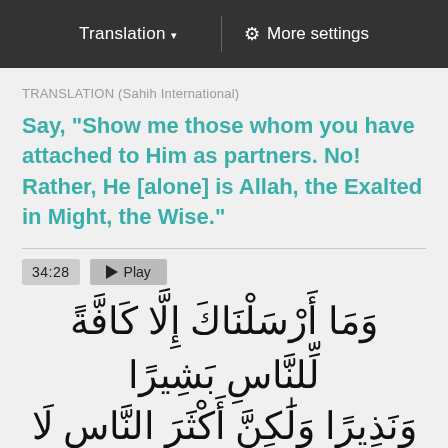Translation ▾ | ⚙ More settings
TRANSLATION (Sahih International)
Say, "Show me those whom you have attached to Him as partners. No! Rather, He [alone] is Allah, the Exalted in Might, the Wise."
34:28  ▶ Play
وَمَا أَرْسَلْنَاكَ إِلَّا كَافَّةً لِّلنَّاسِ بَشِيرًا وَنَذِيرًا وَلَٰكِنَّ أَكْثَرَ النَّاسِ لَا